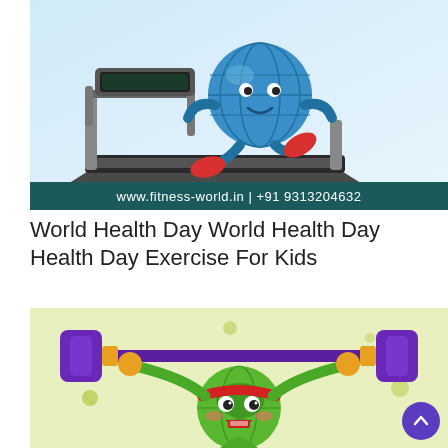[Figure (illustration): Cartoon globe character with arms and legs running on a treadmill, light blue background. Dark teal banner at the bottom reads: www.fitness-world.in | +91 9313204632]
World Health Day World Health Day Health Day Exercise For Kids
[Figure (illustration): Cartoon globe character wearing a red headband and lifting a purple barbell/weights, on a light green-yellow background with decorative dots.]